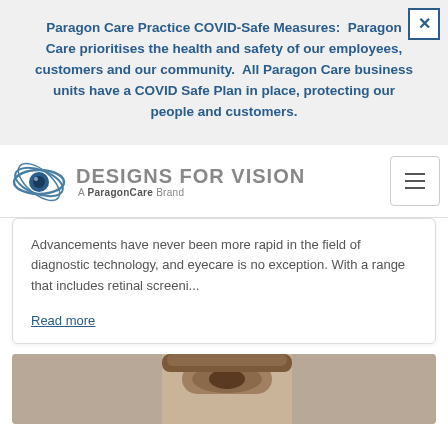Paragon Care Practice COVID-Safe Measures: Paragon Care prioritises the health and safety of our employees, customers and our community. All Paragon Care business units have a COVID Safe Plan in place, protecting our people and customers.
[Figure (logo): Designs for Vision logo — stylized eye with swoosh lines, text 'DESIGNS FOR VISION' and tagline 'A ParagonCare Brand']
Advancements have never been more rapid in the field of diagnostic technology, and eyecare is no exception. With a range that includes retinal screeni...
Read more
[Figure (photo): Close-up photo of a person's eye/face]